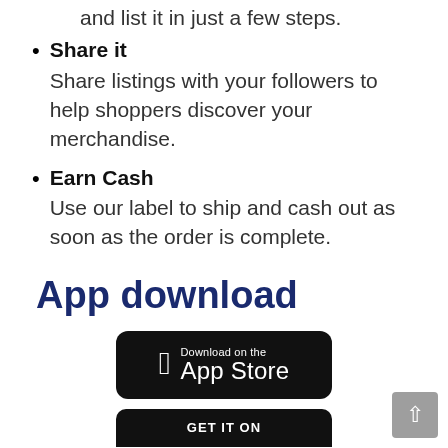and list it in just a few steps.
Share it — Share listings with your followers to help shoppers discover your merchandise.
Earn Cash — Use our label to ship and cash out as soon as the order is complete.
App download
[Figure (other): Download on the App Store button (black rounded rectangle with Apple logo)]
[Figure (other): Get it on Google Play button (black rounded rectangle, partially visible)]